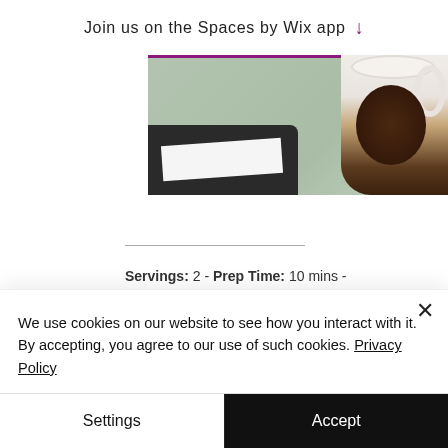Join us on the Spaces by Wix app ↓
[Figure (photo): Top portion of a food/recipe website showing a photo of a dark-colored plate/surface with paper on a sage green background, and a partial image of a white coffee cup on the right side]
Servings: 2 - Prep Time: 10 mins - Cooking Time: 20 mins
We use cookies on our website to see how you interact with it. By accepting, you agree to our use of such cookies. Privacy Policy
Settings
Accept